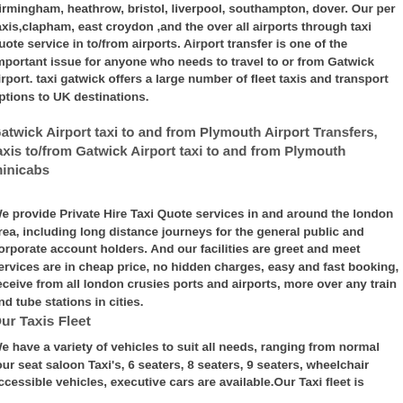...birmingham, heathrow, bristol, liverpool, southampton, dover. Our per taxis,clapham, east croydon ,and the over all airports through taxi quote service in to/from airports. Airport transfer is one of the important issue for anyone who needs to travel to or from Gatwick airport. taxi gatwick offers a large number of fleet taxis and transport options to UK destinations.
Gatwick Airport taxi to and from Plymouth Airport Transfers, taxis to/from Gatwick Airport taxi to and from Plymouth minicabs
We provide Private Hire Taxi Quote services in and around the london area, including long distance journeys for the general public and corporate account holders. And our facilities are greet and meet services are in cheap price, no hidden charges, easy and fast booking, receive from all london crusies ports and airports, more over any train and tube stations in cities.
Our Taxis Fleet
We have a variety of vehicles to suit all needs, ranging from normal four seat saloon Taxi's, 6 seaters, 8 seaters, 9 seaters, wheelchair accessible vehicles, executive cars are available.Our Taxi fleet is